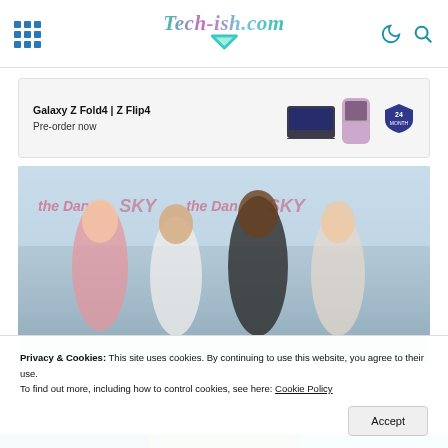Tech-ish.com
[Figure (photo): Samsung Galaxy Z Fold4 and Z Flip4 advertisement banner: 'Galaxy Z Fold4 | Z Flip4 — Pre-order now' with product images and 24-month warranty badge]
[Figure (photo): Photo of four people posing together in front of a branded step-and-repeat banner with 'SKY' and script logos. From left: woman in pink blazer, woman in white dress, tall man in black jacket, woman in light dress.]
Privacy & Cookies: This site uses cookies. By continuing to use this website, you agree to their use.
To find out more, including how to control cookies, see here: Cookie Policy
Accept